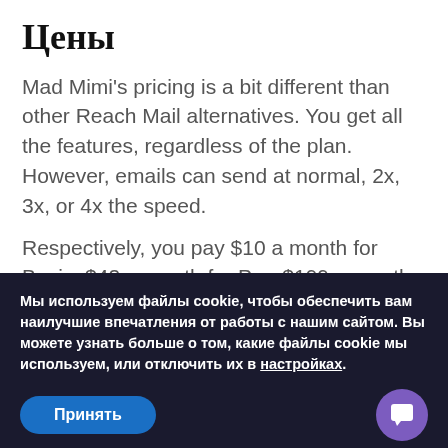Цены
Mad Mimi's pricing is a bit different than other Reach Mail alternatives. You get all the features, regardless of the plan. However, emails can send at normal, 2x, 3x, or 4x the speed.
Respectively, you pay $10 a month for Basic, $42 a month for Pro, $199 a month for Silver, and $1,049 a month for Gold. The other difference is how many contacts you get (500; 10,000; 50,000; or 350,000).
Мы используем файлы cookie, чтобы обеспечить вам наилучшие впечатления от работы с нашим сайтом. Вы можете узнать больше о том, какие файлы cookie мы используем, или отключить их в настройках.